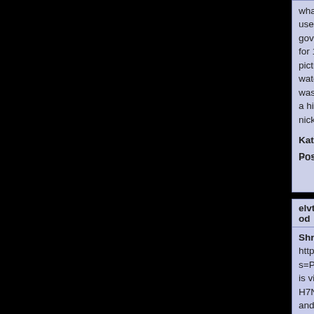what is sulfamethoxazole-trimethoprim used to treat This month, the government jailed a provincial official for 14 years for corruption after pictures of him wearing expensive watches - including what bloggers said was a Vacheron Constantin - became a hit on the Internet, earning him the nickname "Brother Watch".
Kategorie: Žádná kategorie
Postavy: Nic
Odpovědět na námět!
elvtfrBycCiSYexFkCjod
Shrnutí: perfect design thanks https://www.olcf.ornl.gov/?s=Pharmacy%20Online%20Store%20%E2%AD%90%20%20Is%20Viagra%20Legal%29In%20Bangladesh is viagra legal in bangladesh The H7N9 avian flu strain is the longest and...